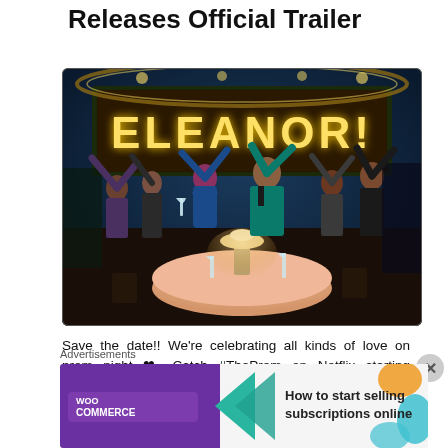Releases Official Trailer
[Figure (photo): Scene from The Prom Netflix movie with cast celebrating in front of a lit-up 'ELEANOR!' sign on stage, woman in blue dress and man in teal tuxedo at center]
Save the date!! We're celebrating all kinds of love on prom night ❤ Catch #TheProm on Netflix starting December 11. Watch the official trailer below:
Advertisements
[Figure (infographic): WooCommerce advertisement: How to start selling subscriptions online]